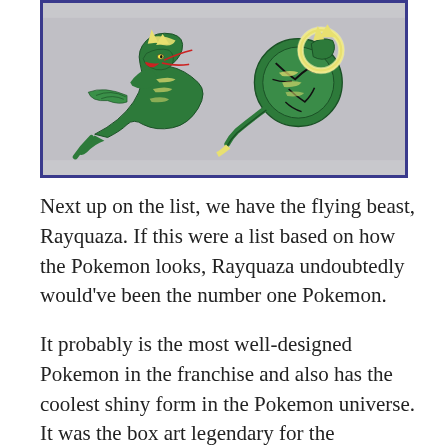[Figure (illustration): Illustration of Rayquaza (normal form on left, mega evolution on right) on a grey background with a dark blue/indigo border. The dragon Pokemon is depicted as a large green serpentine creature with yellow markings and red accents.]
Next up on the list, we have the flying beast, Rayquaza. If this were a list based on how the Pokemon looks, Rayquaza undoubtedly would've been the number one Pokemon.
It probably is the most well-designed Pokemon in the franchise and also has the coolest shiny form in the Pokemon universe. It was the box art legendary for the Pokemon Platinum games. And is a part of the legendary trio of Hoenn, along with Groudon